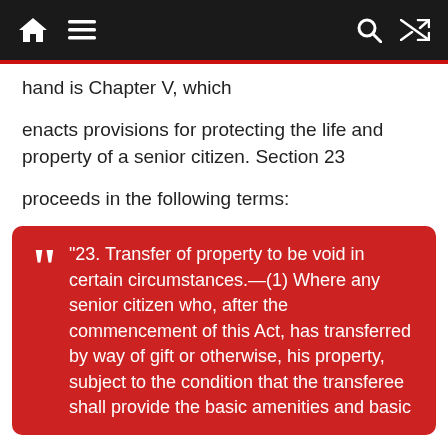[Navigation bar with home, menu, search, and shuffle icons]
hand is Chapter V, which
enacts provisions for protecting the life and property of a senior citizen. Section 23
proceeds in the following terms:
“23. Transfer of property to be void in certain circumstances.—(1) Where any senior citizen who, after the commencement of this Act, has transferred by way of gift or otherwise, his property, subject to the condition that the transferee shall provide the basic amenities and basic